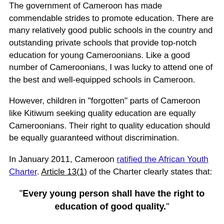The government of Cameroon has made commendable strides to promote education. There are many relatively good public schools in the country and outstanding private schools that provide top-notch education for young Cameroonians. Like a good number of Cameroonians, I was lucky to attend one of the best and well-equipped schools in Cameroon.
However, children in "forgotten" parts of Cameroon like Kitiwum seeking quality education are equally Cameroonians. Their right to quality education should be equally guaranteed without discrimination.
In January 2011, Cameroon ratified the African Youth Charter. Article 13(1) of the Charter clearly states that:
"Every young person shall have the right to education of good quality."
The right to education is also expressly stated in Article 13 of the International Covenant on Economic, Social and Cultural Rights (ICESCR) TO WHICH Cameroon is a party.
The state should fulfil its obligations under international...